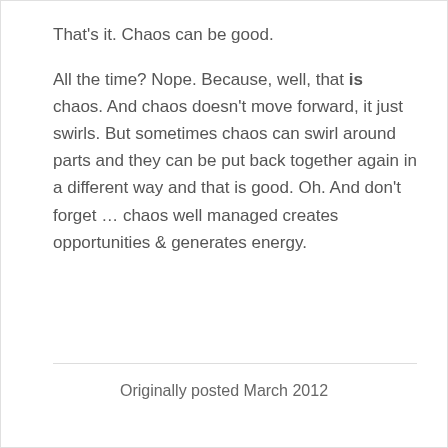That's it. Chaos can be good.
All the time? Nope. Because, well, that is chaos. And chaos doesn't move forward, it just swirls. But sometimes chaos can swirl around parts and they can be put back together again in a different way and that is good. Oh. And don't forget … chaos well managed creates opportunities & generates energy.
Originally posted March 2012